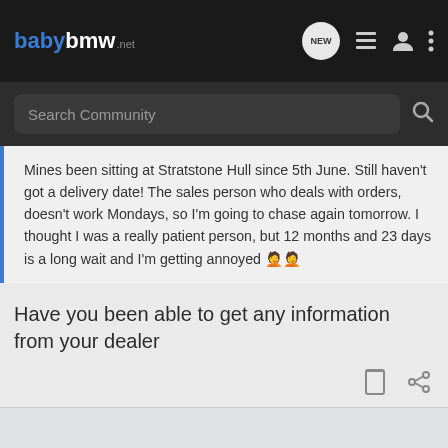babybmw.net
Search Community
Mines been sitting at Stratstone Hull since 5th June. Still haven't got a delivery date! The sales person who deals with orders, doesn't work Mondays, so I'm going to chase again tomorrow. I thought I was a really patient person, but 12 months and 23 days is a long wait and I'm getting annoyed 🤦🤦
Have you been able to get any information from your dealer